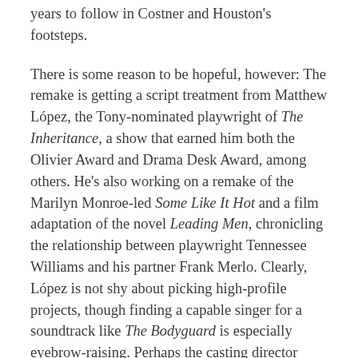years to follow in Costner and Houston's footsteps.
There is some reason to be hopeful, however: The remake is getting a script treatment from Matthew López, the Tony-nominated playwright of The Inheritance, a show that earned him both the Olivier Award and Drama Desk Award, among others. He's also working on a remake of the Marilyn Monroe-led Some Like It Hot and a film adaptation of the novel Leading Men, chronicling the relationship between playwright Tennessee Williams and his partner Frank Merlo. Clearly, López is not shy about picking high-profile projects, though finding a capable singer for a soundtrack like The Bodyguard is especially eyebrow-raising. Perhaps the casting director might pull a lead or two from the Great White Way? It seems unlikely many modern divas could live up to the magnetic power of Houston—and, in particular, her voice—but then again,